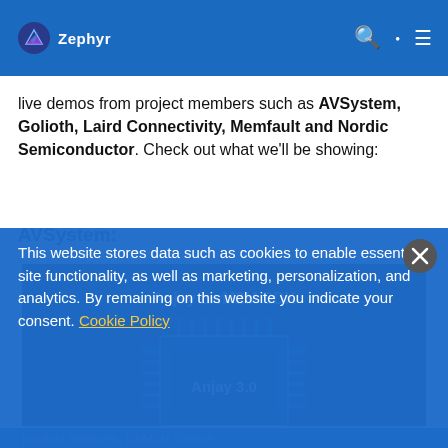Zephyr (navigation bar with logo, search, and menu icons)
live demos from project members such as AVSystem, Golioth, Laird Connectivity, Memfault and Nordic Semiconductor. Check out what we'll be showing:
AVSystem:
[Figure (photo): Dark-themed promotional image showing a circuit board / chip graphic with text 'Anjay LwM2M SDK' and 'Anjay 3.0' in white and cyan text on a black background.]
This website stores data such as cookies to enable essential site functionality, as well as marketing, personalization, and analytics. By remaining on this website you indicate your consent. Cookie Policy
product releases, LwM2M Device